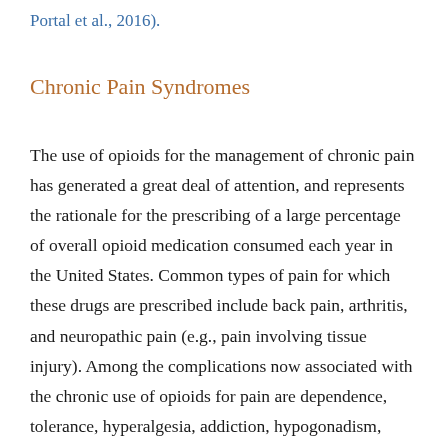Portal et al., 2016).
Chronic Pain Syndromes
The use of opioids for the management of chronic pain has generated a great deal of attention, and represents the rationale for the prescribing of a large percentage of overall opioid medication consumed each year in the United States. Common types of pain for which these drugs are prescribed include back pain, arthritis, and neuropathic pain (e.g., pain involving tissue injury). Among the complications now associated with the chronic use of opioids for pain are dependence, tolerance, hyperalgesia, addiction, hypogonadism, falls, fractures, decline in cognitive function, and hormonal